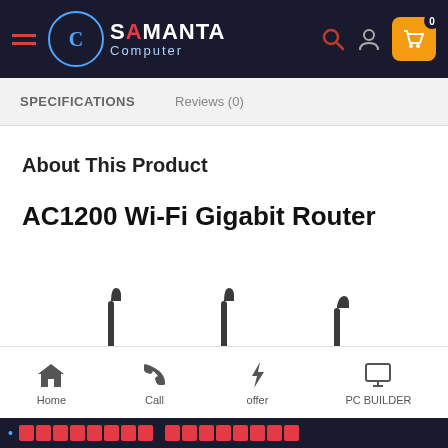Samanta Computer — navigation bar with logo, search, user, cart (0)
SPECIFICATIONS
Reviews (0)
About This Product
AC1200 Wi-Fi Gigabit Router
[Figure (photo): Partial view of the top portion of an AC1200 Wi-Fi Gigabit Router showing three antennas protruding upward]
Home | Call | offer | PC BUILDER — bottom navigation bar